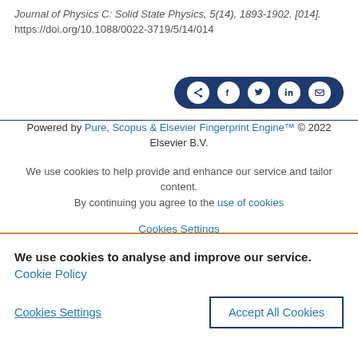Journal of Physics C: Solid State Physics, 5(14), 1893-1902. [014]. https://doi.org/10.1088/0022-3719/5/14/014
[Figure (other): Social sharing buttons bar with icons for share, Facebook, Twitter, LinkedIn, and email on dark navy background]
Powered by Pure, Scopus & Elsevier Fingerprint Engine™ © 2022 Elsevier B.V.
We use cookies to help provide and enhance our service and tailor content. By continuing you agree to the use of cookies
Cookies Settings
We use cookies to analyse and improve our service. Cookie Policy
Cookies Settings
Accept All Cookies